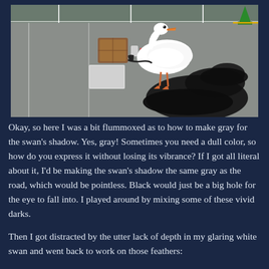[Figure (photo): A white swan standing on a gray parking lot asphalt surface, with a large dark shadow cast to the right. Nearby are some items on the ground including a brown box, small containers, and a white flat object. A green traffic cone is visible in the upper right corner. Parking lot white line markings are visible.]
Okay, so here I was a bit flummoxed as to how to make gray for the swan's shadow.  Yes, gray!  Sometimes you need a dull color, so how do you express it without losing its vibrance?  If I got all literal about it, I'd be making the swan's shadow the same gray as the road, which would be pointless.  Black would just be a big hole for the eye to fall into.  I played around by mixing some of these vivid darks.
Then I got distracted by the utter lack of depth in my glaring white swan and went back to work on those feathers: